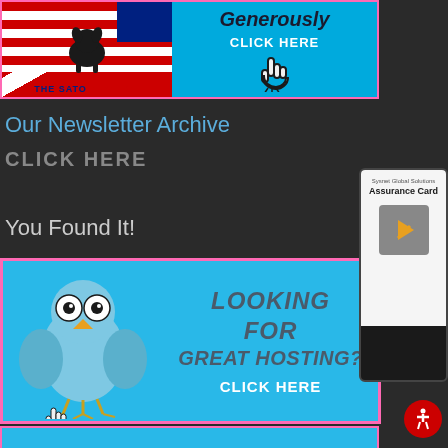[Figure (illustration): The Sato Project banner ad with American flag imagery, dog silhouette, and text 'Give Generously CLICK HERE']
Our Newsletter Archive
CLICK HERE
You Found It!
[Figure (illustration): Blue hosting advertisement banner with cartoon owl and text 'LOOKING FOR GREAT HOSTING? CLICK HERE']
[Figure (illustration): Partial blue banner at bottom of page]
[Figure (illustration): Sysnet Global Solutions Assurance Card sidebar advertisement]
[Figure (illustration): Red accessibility icon button]